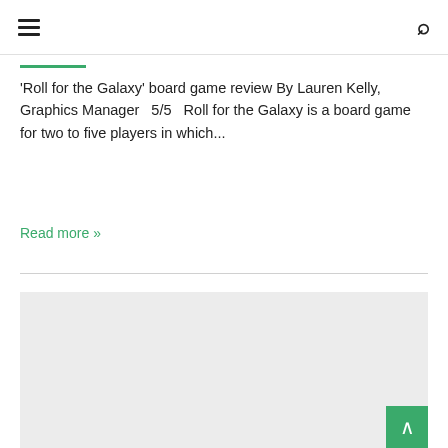hamburger menu | search icon
'Roll for the Galaxy' board game review By Lauren Kelly, Graphics Manager   5/5   Roll for the Galaxy is a board game for two to five players in which...
Read more »
[Figure (other): Gray placeholder image box at bottom of page with a green back-to-top button in the bottom-right corner]